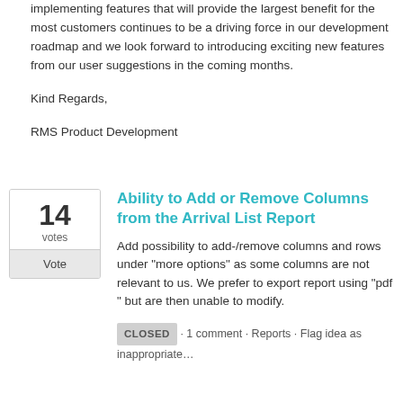implementing features that will provide the largest benefit for the most customers continues to be a driving force in our development roadmap and we look forward to introducing exciting new features from our user suggestions in the coming months.
Kind Regards,
RMS Product Development
Ability to Add or Remove Columns from the Arrival List Report
Add possibility to add-/remove columns and rows under "more options" as some columns are not relevant to us. We prefer to export report using "pdf " but are then unable to modify.
CLOSED · 1 comment · Reports · Flag idea as inappropriate…